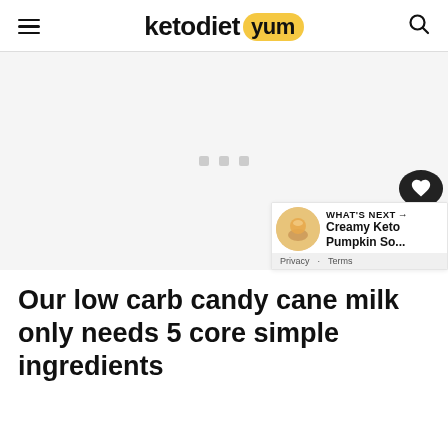ketodiet yum
[Figure (other): Advertisement placeholder area with three grey dots in the center]
Our low carb candy cane milk only needs 5 core simple ingredients